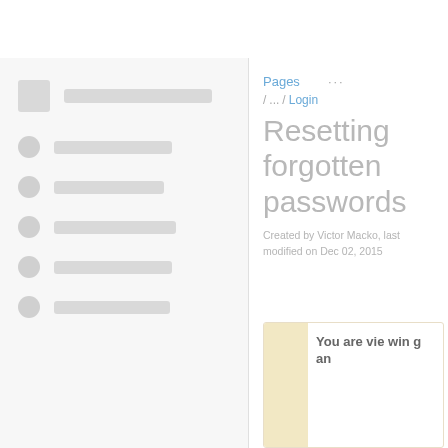[Figure (screenshot): Left navigation panel with a square icon and long bar at top, followed by 6 list rows each with a circle bullet and a gray bar placeholder]
Pages ...
/ ... / Login
Resetting forgotten passwords
Created by Victor Macko, last modified on Dec 02, 2015
You are viewing an